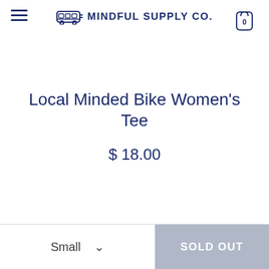MINDFUL SUPPLY CO.
Local Minded Bike Women's Tee
$ 18.00
Small  ∨  SOLD OUT